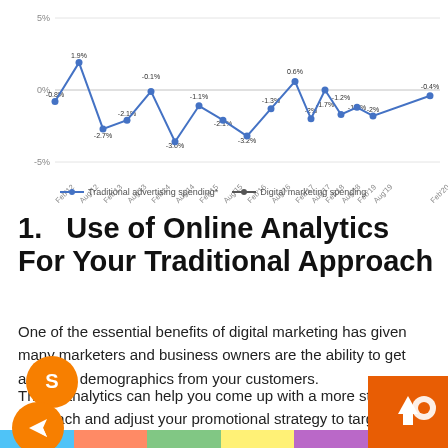[Figure (line-chart): Traditional advertising spending vs Digital marketing spending]
1.  Use of Online Analytics For Your Traditional Approach
One of the essential benefits of digital marketing has given many marketers and business owners are the ability to get accurate demographics from your customers.
These analytics can help you come up with a more strategic approach and adjust your promotional strategy to target audience.